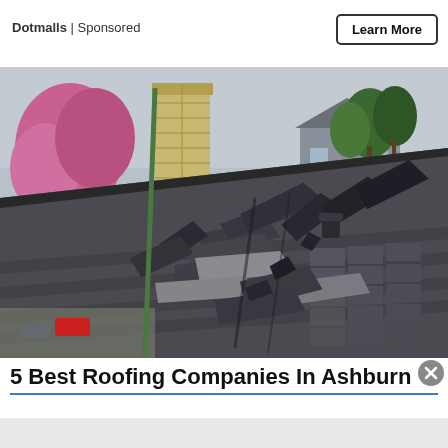Dotmalls | Sponsored
[Figure (photo): Damaged residential roof with broken and lifted asphalt shingles. A chimney and brick column are visible on the left, with a pink-blossomed tree in the background. A house and green trees are visible in the background under an overcast sky.]
5 Best Roofing Companies In Ashburn